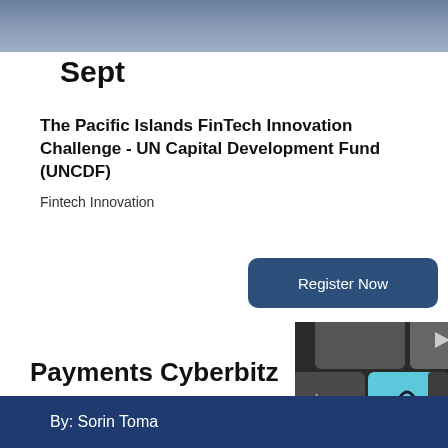Sept
The Pacific Islands FinTech Innovation Challenge - UN Capital Development Fund (UNCDF)
Fintech Innovation
Register Now
Payments Cyberbitz
[Figure (photo): Close-up photograph of computer keyboard keys, including a light blue key with a lock/security icon]
By: Sorin Toma